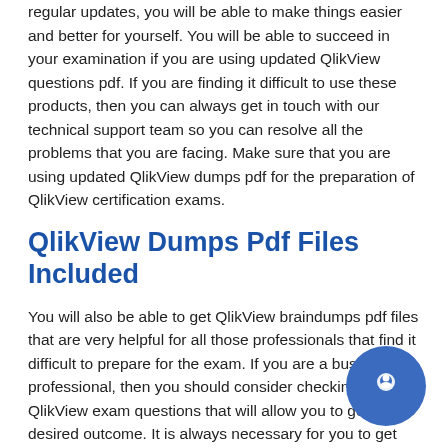regular updates, you will be able to make things easier and better for yourself. You will be able to succeed in your examination if you are using updated QlikView questions pdf. If you are finding it difficult to use these products, then you can always get in touch with our technical support team so you can resolve all the problems that you are facing. Make sure that you are using updated QlikView dumps pdf for the preparation of QlikView certification exams.
QlikView Dumps Pdf Files Included
You will also be able to get QlikView braindumps pdf files that are very helpful for all those professionals that find it difficult to prepare for the exam. If you are a busy professional, then you should consider checking out the QlikView exam questions that will allow you to get the desired outcome. It is always necessary for you to get files that will help you manage your preparation level. You can also use these QlikView PDF dumps files on your